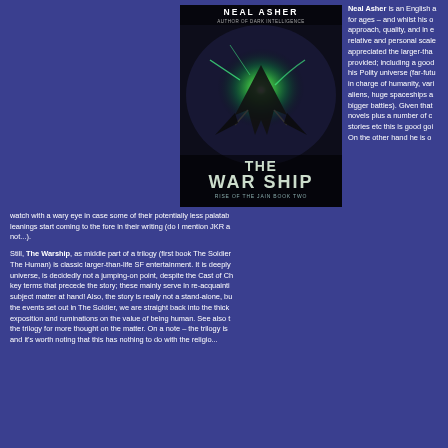[Figure (photo): Book cover of 'The War Ship: Rise of the Jain Book Two' by Neal Asher, showing a dramatic science fiction scene with a spaceship and green glowing energy against a dark space background.]
Neal Asher is an English a... for ages – and whilst his o... approach, quality, and in e... relative and personal scale... appreciated the larger-tha... provided; including a good... his Polity universe (far-futu... in charge of humanity, vari... aliens, huge spaceships a... bigger battles). Given that... novels plus a number of c... stories etc this is good goi... On the other hand he is o...
watch with a wary eye in case some of their potentially less palatab... leanings start coming to the fore in their writing (do I mention JKR a... not...).
Still, The Warship, as middle part of a trilogy (first book The Soldier... The Human) is classic larger-than-life SF entertainment. It is deeply... universe, is decidedly not a jumping-on point, despite the Cast of Ch... key terms that precede the story; these mainly serve in re-acquainti... subject matter at hand! Also, the story is really not a stand-alone, bu... the events set out in The Soldier, we are straight back into the thick... exposition and ruminations on the value of being human. See also t... the trilogy for more thought on the matter. On a note – the trilogy is... and it's worth noting that this has nothing to do with the religio...